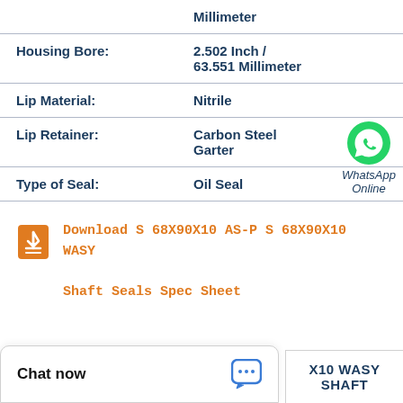| Property | Value |
| --- | --- |
|  | Millimeter |
| Housing Bore: | 2.502 Inch / 63.551 Millimeter |
| Lip Material: | Nitrile |
| Lip Retainer: | Carbon Steel Garter |
| Type of Seal: | Oil Seal |
Download S 68X90X10 AS-P S 68X90X10 WASY Shaft Seals Spec Sheet
Chat now
X10 WASY SHAFT